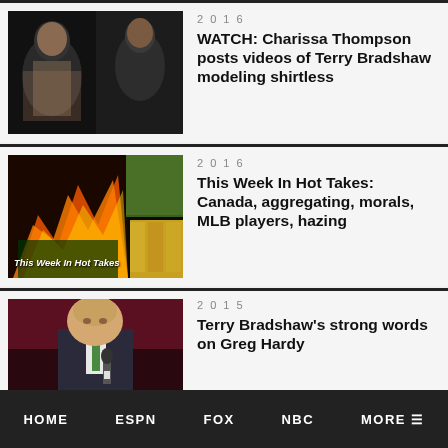[Figure (photo): Shirtless man (Terry Bradshaw) photographed in what appears to be a locker room, dark background]
2016
WATCH: Charissa Thompson posts videos of Terry Bradshaw modeling shirtless
[Figure (photo): Fire/explosion scene collaged with sports images, text overlay reads 'This Week In Hot Takes']
2016
This Week In Hot Takes: Canada, aggregating, morals, MLB players, hazing
[Figure (photo): Terry Bradshaw in suit with microphone, stadium background]
2015
Terry Bradshaw's strong words on Greg Hardy
HOME   ESPN   FOX   NBC   MORE ≡